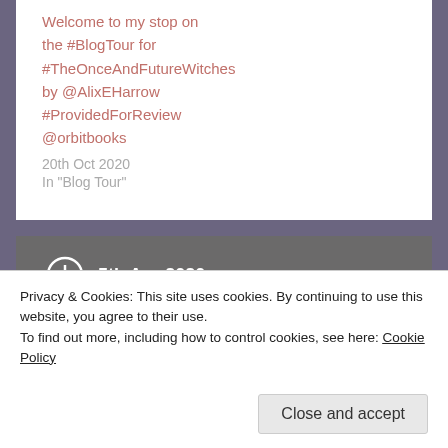Welcome to my stop on the #BlogTour for #TheOnceAndFutureWitches by @AlixEHarrow #ProvidedForReview @orbitbooks
20th Oct 2020
In "Blog Tour"
5th Apr 2020
Blog Tour
Hamnet
Privacy & Cookies: This site uses cookies. By continuing to use this website, you agree to their use.
To find out more, including how to control cookies, see here: Cookie Policy